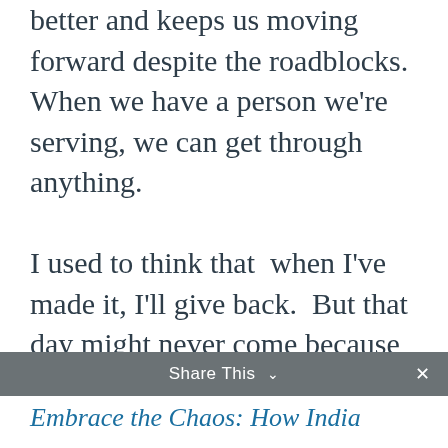better and keeps us moving forward despite the roadblocks. When we have a person we're serving, we can get through anything.

I used to think that when I've made it, I'll give back. But that day might never come because we're always playing catchup. The truth is that we have to find ways to serve a cause or a purpose that is meaningful, where we give of ourselves each day, not just in the Fridays of our retirement, but on the Mondays and Tuesdays of our lifetime.
Share This ∨  ✕
Embrace the Chaos: How India